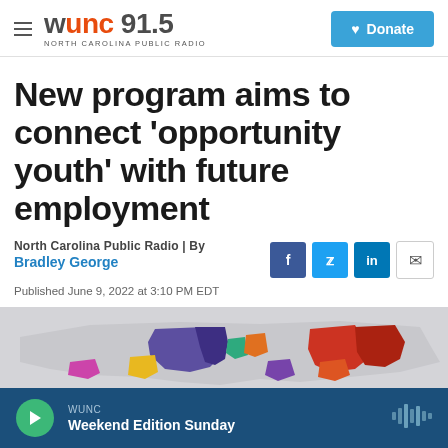WUNC 91.5 | North Carolina Public Radio | Donate
New program aims to connect 'opportunity youth' with future employment
North Carolina Public Radio | By
Bradley George
Published June 9, 2022 at 3:10 PM EDT
[Figure (map): Colorful map of North Carolina counties with various colors indicating different regions or categories]
WUNC | Weekend Edition Sunday